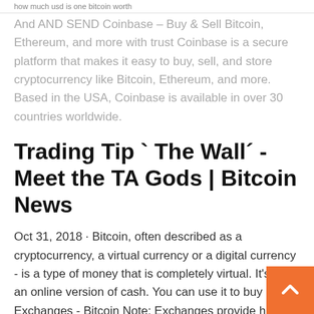how much usd is one bitcoin worth
And AND SEND Coinbase – Buy & Sell Bitcoin, Ethereum, and more with trust Coinbase is a secure platform that makes it easy to buy, sell, and store cryptocurrency like Bitcoin, Ethereum, and more. Based in the USA, Coinbase is available in over 30 countries worldwide.
Trading Tip `The Wall´ - Meet the TA Gods | Bitcoin News
Oct 31, 2018 · Bitcoin, often described as a cryptocurrency, a virtual currency or a digital currency - is a type of money that is completely virtual. It's like an online version of cash. You can use it to buy Exchanges - Bitcoin Note: Exchanges provide highly varying degrees of safety, security, privacy, and control over your funds and information. Perform your own due diligence and choose a wallet where you will keep your btc before selecting an exchange. 5 Top Bitcoin Brokers 2020 |